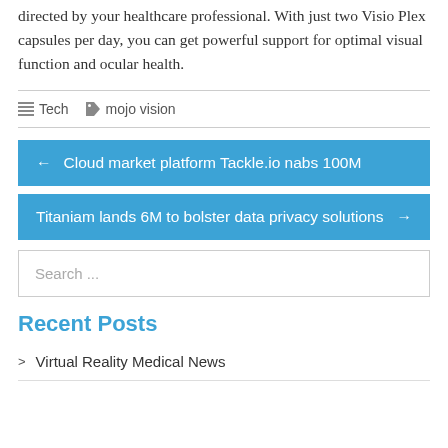directed by your healthcare professional. With just two Visio Plex capsules per day, you can get powerful support for optimal visual function and ocular health.
Tech   mojo vision
← Cloud market platform Tackle.io nabs 100M
Titaniam lands 6M to bolster data privacy solutions →
Search ...
Recent Posts
Virtual Reality Medical News